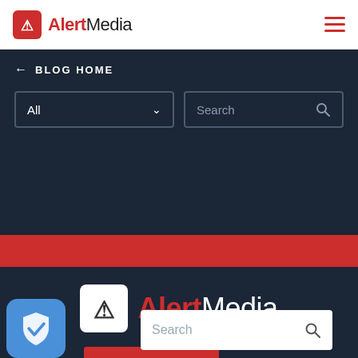[Figure (logo): AlertMedia logo in top navigation bar with red icon and brand name]
← BLOG HOME
[Figure (screenshot): Dropdown filter box labeled 'All' and search input box in dark navigation area]
[Figure (logo): Large AlertMedia logo centered on dark background]
TRY IT FREE
LOGIN
[Figure (screenshot): Search input box at bottom of page]
[Figure (illustration): Blue shield icon with checkmark in bottom left corner]